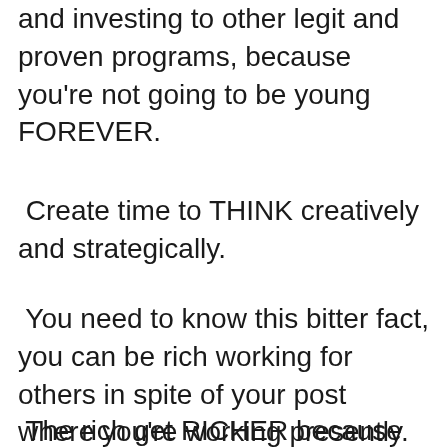and investing to other legit and proven programs, because you're not going to be young FOREVER.
Create time to THINK creatively and strategically.
You need to know this bitter fact, you can be rich working for others in spite of your post where you're working presently.
The rich get RICHER because the POOR thinks